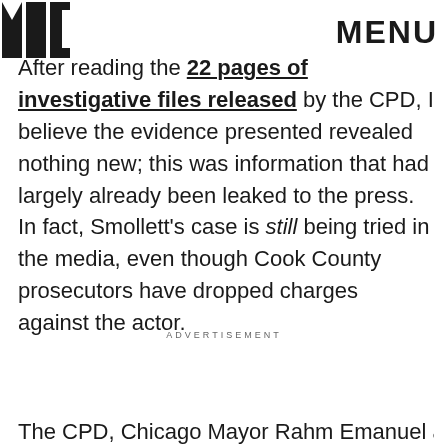MIC | MENU
After reading the 22 pages of investigative files released by the CPD, I believe the evidence presented revealed nothing new; this was information that had largely already been leaked to the press. In fact, Smollett's case is still being tried in the media, even though Cook County prosecutors have dropped charges against the actor.
ADVERTISEMENT
The CPD, Chicago Mayor Rahm Emanuel and the media